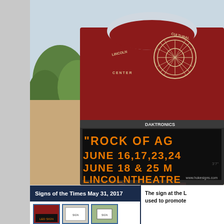[Figure (photo): Outdoor LED marquee sign for Lincoln Cultural Center. The sign has a dark red/maroon arched top section with a circular wheel logo and text reading 'LINCOLN CULTURAL CENTER'. Below is a large black LED matrix display (Daktronics brand) showing orange dot-matrix text: '"ROCK OF AG' / 'JUNE 16,17,23,24' / 'JUNE 18 & 25 M' / 'LINCOLNTHEATRE'. Website www.hokesigns.com shown at bottom right of LED board. Sign stands on poles with grassy ground visible.]
Signs of the Times May 31, 2017
[Figure (photo): Three small thumbnail photos of various signs]
The sign at the L used to promote